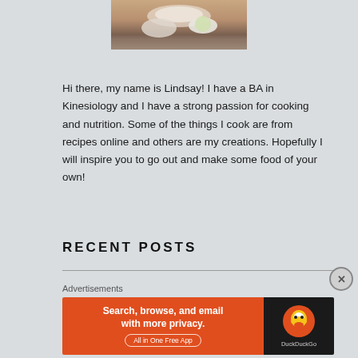[Figure (photo): Partial photo of food dishes on a table, cropped at top of page]
Hi there, my name is Lindsay! I have a BA in Kinesiology and I have a strong passion for cooking and nutrition. Some of the things I cook are from recipes online and others are my creations. Hopefully I will inspire you to go out and make some food of your own!
RECENT POSTS
Advertisements
[Figure (screenshot): DuckDuckGo advertisement banner: orange left side reading 'Search, browse, and email with more privacy. All in One Free App' and dark right side with DuckDuckGo logo]